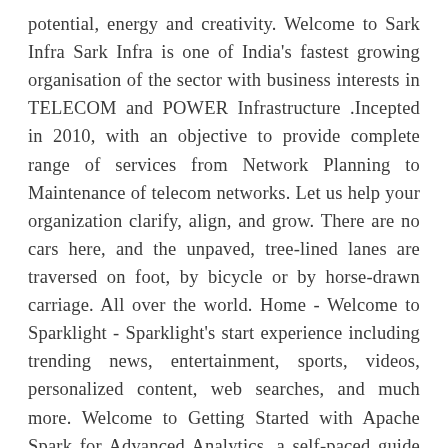potential, energy and creativity. Welcome to Sark Infra Sark Infra is one of India's fastest growing organisation of the sector with business interests in TELECOM and POWER Infrastructure .Incepted in 2010, with an objective to provide complete range of services from Network Planning to Maintenance of telecom networks. Let us help your organization clarify, align, and grow. There are no cars here, and the unpaved, tree-lined lanes are traversed on foot, by bicycle or by horse-drawn carriage. All over the world. Home - Welcome to Sparklight - Sparklight's start experience including trending news, entertainment, sports, videos, personalized content, web searches, and much more. Welcome to Getting Started with Apache Spark for Advanced Analytics, a self-paced guide to the Spark analytics engine using Qubole! We've added a #SparkMade gallery highlighting some of our favorite projects from users. Spark Machinery Rental is a leading Generator rental and maintenance company in the UAE. since then all it has bothered for is to extract a traveller out of each of its customer worldwide and to provide the best service to them. As enterprises rapidly adopt cloud-based …